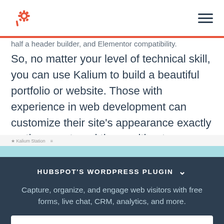HubSpot logo and navigation menu
half a header builder, and Elementor compatibility. So, no matter your level of technical skill, you can use Kalium to build a beautiful portfolio or website. Those with experience in web development can customize their site's appearance exactly as they want, and those without can easily place elements on any page.
HUBSPOT'S WORDPRESS PLUGIN
Capture, organize, and engage web visitors with free forms, live chat, CRM, analytics, and more.
DOWNLOAD THE FREE PLUGIN